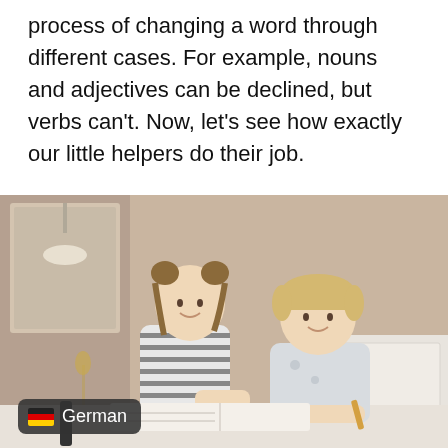process of changing a word through different cases. For example, nouns and adjectives can be declined, but verbs can't. Now, let's see how exactly our little helpers do their job.
[Figure (photo): Two children, a girl and a boy, sitting at a white table studying together. The girl has two bun-style pigtails and wears a striped shirt; the boy has short blonde hair and wears a light shirt. They are both looking down at a notebook. A warm beige wall and a mirror with a pendant lamp are visible in the background. A 'German' badge with the German flag emoji appears in the bottom-left corner of the photo.]